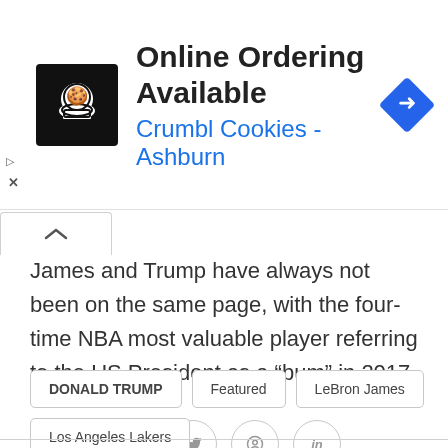[Figure (other): Advertisement banner for Crumbl Cookies - Ashburn with online ordering available. Shows a chef logo icon, text, and a navigation arrow icon.]
James and Trump have always not been on the same page, with the four-time NBA most valuable player referring to the US President as a “bum” in 2017.
[Figure (other): Social media sharing buttons: Facebook (f), Twitter (bird), Pinterest (P), LinkedIn (in) — circular outlined icons.]
DONALD TRUMP
Featured
LeBron James
Los Angeles Lakers